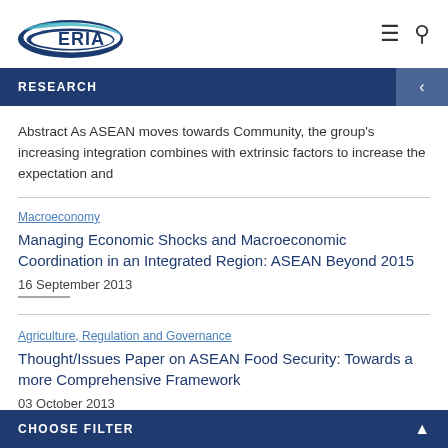ERIA
RESEARCH
Abstract As ASEAN moves towards Community, the group's increasing integration combines with extrinsic factors to increase the expectation and
Macroeconomy
Managing Economic Shocks and Macroeconomic Coordination in an Integrated Region: ASEAN Beyond 2015
16 September 2013
Agriculture, Regulation and Governance
Thought/Issues Paper on ASEAN Food Security: Towards a more Comprehensive Framework
03 October 2013
CHOOSE FILTER